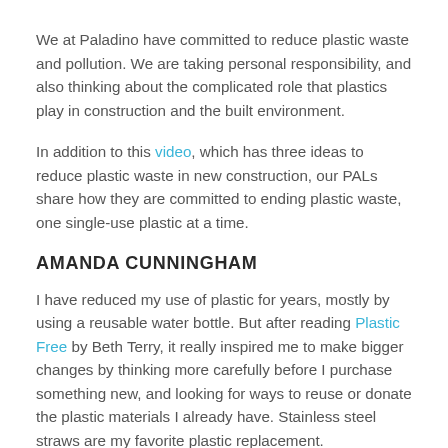We at Paladino have committed to reduce plastic waste and pollution. We are taking personal responsibility, and also thinking about the complicated role that plastics play in construction and the built environment.
In addition to this video, which has three ideas to reduce plastic waste in new construction, our PALs share how they are committed to ending plastic waste, one single-use plastic at a time.
AMANDA CUNNINGHAM
I have reduced my use of plastic for years, mostly by using a reusable water bottle. But after reading Plastic Free by Beth Terry, it really inspired me to make bigger changes by thinking more carefully before I purchase something new, and looking for ways to reuse or donate the plastic materials I already have. Stainless steel straws are my favorite plastic replacement.